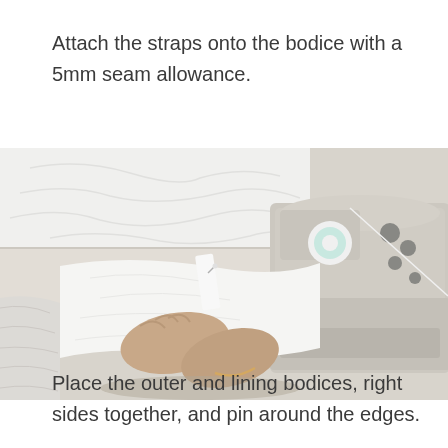Attach the straps onto the bodice with a 5mm seam allowance.
[Figure (photo): A person's hands working with white fabric near a sewing machine on a worktable, attaching straps onto a bodice.]
Place the outer and lining bodices, right sides together, and pin around the edges.